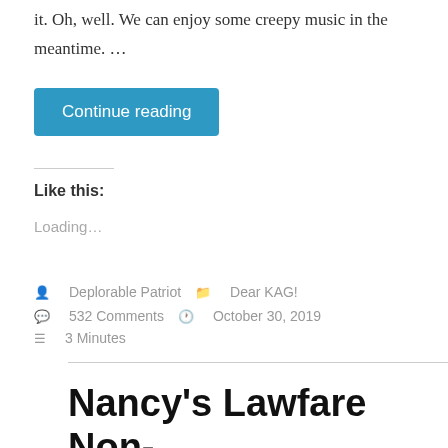it. Oh, well. We can enjoy some creepy music in the meantime. …
Continue reading
Like this:
Loading…
Deplorable Patriot   Dear KAG!   532 Comments   October 30, 2019   3 Minutes
Nancy's Lawfare Non-